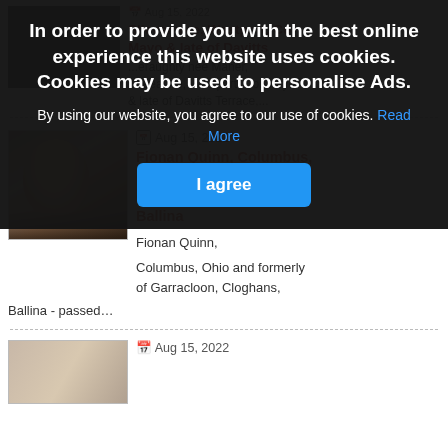In order to provide you with the best online experience this website uses cookies. Cookies may be used to personalise Ads.
By using our website, you agree to our use of cookies. Read More
I agree
Aug 15, 2022
Slievemore, Westport, Co. Mayo & late of Davitts
...eraughty nee Maher, Sheeaune, Westport, Co. Mayo & late of Davitts Terrace,...
Aug 15, 2022
Fionan Quinn, Columbus, Ohio and formerly of Garracloon, Cloghans, Ballina
Fionan Quinn,
Columbus, Ohio and formerly of Garracloon, Cloghans,
Ballina - passed…
Aug 15, 2022